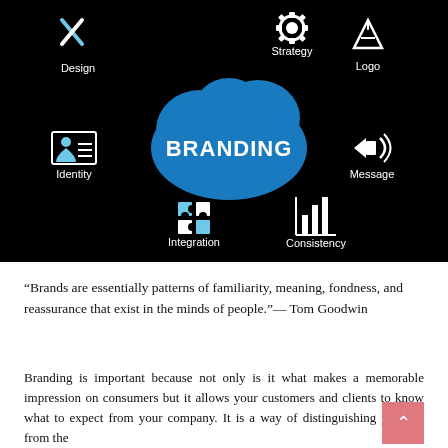[Figure (infographic): Branding infographic on black background. Central blue cloud shape with 'BRANDING' text in white. Surrounding icons and labels: Design (pencil/ruler icon, top-left), Strategy (gear icon, top-center), Logo (compass/triangle icon, top-right), Identity (ID card icon, middle-left), Message (megaphone icon, middle-right), Integration (puzzle piece icon, bottom-center-left), Consistency (bar chart icon, bottom-center-right).]
“Brands are essentially patterns of familiarity, meaning, fondness, and reassurance that exist in the minds of people.”— Tom Goodwin
Branding is important because not only is it what makes a memorable impression on consumers but it allows your customers and clients to know what to expect from your company. It is a way of distinguishing yourself from the